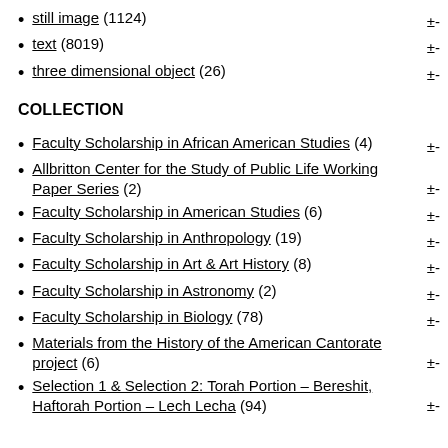still image (1124)
text (8019)
three dimensional object (26)
COLLECTION
Faculty Scholarship in African American Studies (4)
Allbritton Center for the Study of Public Life Working Paper Series (2)
Faculty Scholarship in American Studies (6)
Faculty Scholarship in Anthropology (19)
Faculty Scholarship in Art & Art History (8)
Faculty Scholarship in Astronomy (2)
Faculty Scholarship in Biology (78)
Materials from the History of the American Cantorate project (6)
Selection 1 & Selection 2: Torah Portion – Bereshit, Haftorah Portion – Lech Lecha (94)